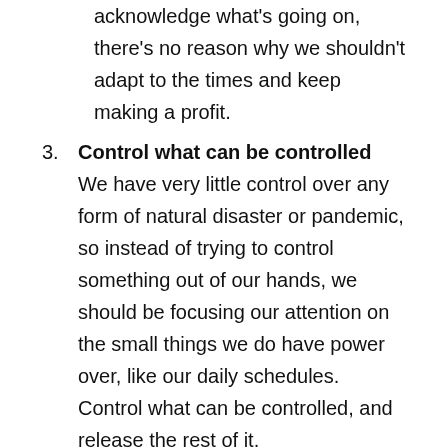acknowledge what's going on, there's no reason why we shouldn't adapt to the times and keep making a profit.
Control what can be controlled
We have very little control over any form of natural disaster or pandemic, so instead of trying to control something out of our hands, we should be focusing our attention on the small things we do have power over, like our daily schedules. Control what can be controlled, and release the rest of it.
Guest Bio-
Emily D. Baker is the badass lawyer for online business and the host of the popular Get Legit Law & Sh!t podcast. Emily is a former Deputy District Attorney, has run multi seven-figure businesses with her husband and, with over 15 years...